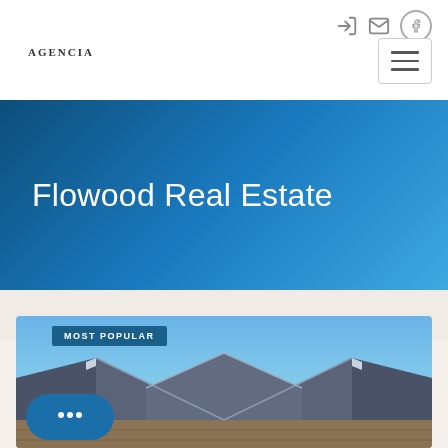Navigation header with logo, icons, and hamburger menu
Flowood Real Estate
[Figure (photo): Exterior photo of a large brick house with multiple peaked rooflines against a clear blue sky, with a 'MOST POPULAR' badge overlay]